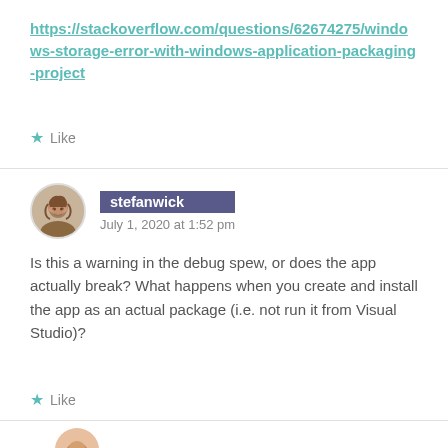https://stackoverflow.com/questions/62674275/windows-storage-error-with-windows-application-packaging-project
Like
stefanwick
July 1, 2020 at 1:52 pm
Is this a warning in the debug spew, or does the app actually break? What happens when you create and install the app as an actual package (i.e. not run it from Visual Studio)?
Like